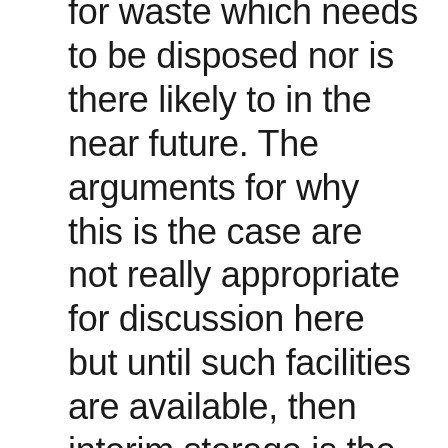for waste which needs to be disposed nor is there likely to in the near future. The arguments for why this is the case are not really appropriate for discussion here but until such facilities are available, then interim storage is the only option and such storage facilities are quite expensive to construct to a standard that meets the safety and security standards for such materials. In addition the cost of building geological disposal facilities are exceptionally high and therefore it is imperative for both the environment